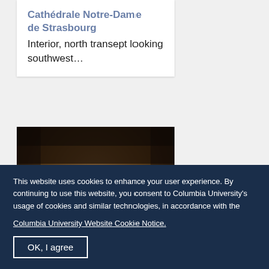Cathédrale Notre-Dame de Strasbourg
Interior, north transept looking southwest…
[Figure (photo): Interior of Cathédrale Notre-Dame de Strasbourg showing the north transept looking southwest — Gothic stone arches, columns, and vaulted ceiling in warm brown tones.]
This website uses cookies to enhance your user experience. By continuing to use this website, you consent to Columbia University's usage of cookies and similar technologies, in accordance with the
Columbia University Website Cookie Notice.
OK, I agree